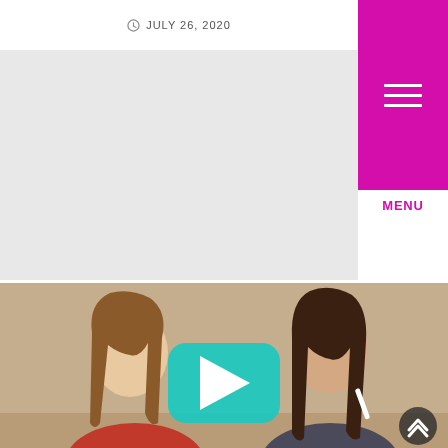JULY 26, 2020
[Figure (screenshot): Gray content area placeholder at the top of the page, with a magenta/pink menu button in the top right corner showing three horizontal lines and the label MENU below]
MENU
[Figure (photo): Two young women sitting at a table; one on the left with long straight hair wearing a red shirt, appearing to speak; one on the right with long dark hair wearing a dark shirt, holding a pen/marker. A teal/cyan YouTube-style play button overlay appears in the center of the image. A dark circular back-to-top arrow button is in the bottom right.]